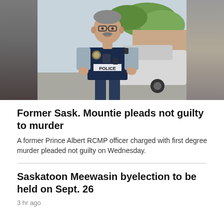[Figure (photo): A male police officer in RCMP uniform with 'POLICE' written on his vest, wearing glasses and a mustache, standing outdoors near vehicles. The photo has blurred grey areas on the left and right sides.]
Former Sask. Mountie pleads not guilty to murder
A former Prince Albert RCMP officer charged with first degree murder pleaded not guilty on Wednesday.
Saskatoon Meewasin byelection to be held on Sept. 26
3 hr ago